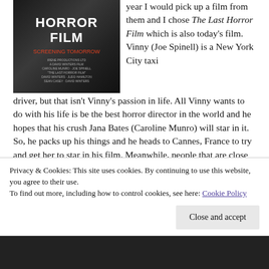[Figure (photo): Movie poster for The Last Horror Film, dark background with horror film title text and credits]
year I would pick up a film from them and I chose The Last Horror Film which is also today's film. Vinny (Joe Spinell) is a New York City taxi driver, but that isn't Vinny's passion in life. All Vinny wants to do with his life is be the best horror director in the world and he hopes that his crush Jana Bates (Caroline Munro) will star in it. So, he packs up his things and he heads to Cannes, France to try and get her to star in his film. Meanwhile, people that are close to Jana are starting to get killed and Vinny is suspected of the murders. The film also stars Susanne Benton (Catch-22) as Susan Archer, Glenn Jacobson (Trick Or Treats) as Bret Bates, Judd Hamilton (Maniac) as Alan Cunningham, David Winters (West Side Story) as Stanley Kline, Devin Goldenberg (The Happy Hooker Goes Hollywood)
Privacy & Cookies: This site uses cookies. By continuing to use this website, you agree to their use.
To find out more, including how to control cookies, see here: Cookie Policy
Close and accept